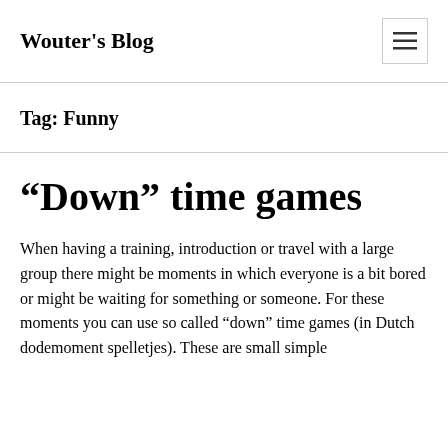Wouter's Blog
Tag: Funny
“Down” time games
When having a training, introduction or travel with a large group there might be moments in which everyone is a bit bored or might be waiting for something or someone. For these moments you can use so called “down” time games (in Dutch dodemoment spelletjes). These are small simple